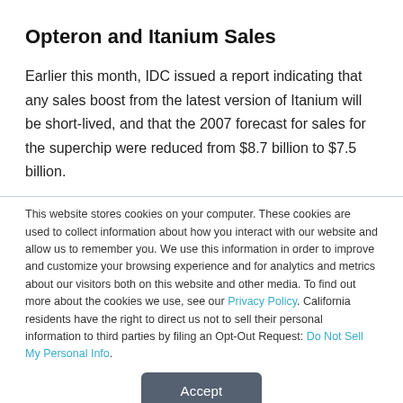Opteron and Itanium Sales
Earlier this month, IDC issued a report indicating that any sales boost from the latest version of Itanium will be short-lived, and that the 2007 forecast for sales for the superchip were reduced from $8.7 billion to $7.5 billion.
This website stores cookies on your computer. These cookies are used to collect information about how you interact with our website and allow us to remember you. We use this information in order to improve and customize your browsing experience and for analytics and metrics about our visitors both on this website and other media. To find out more about the cookies we use, see our Privacy Policy. California residents have the right to direct us not to sell their personal information to third parties by filing an Opt-Out Request: Do Not Sell My Personal Info.